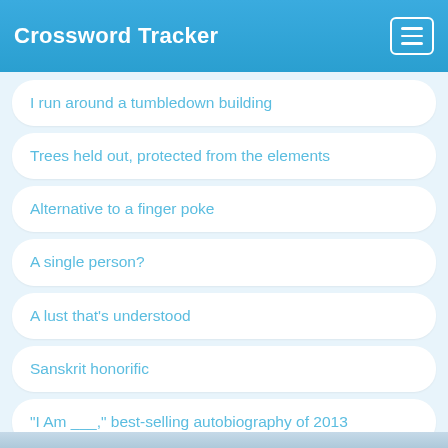Crossword Tracker
I run around a tumbledown building
Trees held out, protected from the elements
Alternative to a finger poke
A single person?
A lust that's understood
Sanskrit honorific
"I Am ___," best-selling autobiography of 2013
Random Clues